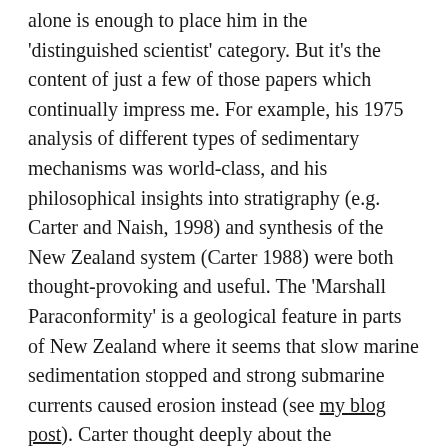alone is enough to place him in the 'distinguished scientist' category. But it's the content of just a few of those papers which continually impress me. For example, his 1975 analysis of different types of sedimentary mechanisms was world-class, and his philosophical insights into stratigraphy (e.g. Carter and Naish, 1998) and synthesis of the New Zealand system (Carter 1988) were both thought-provoking and useful. The 'Marshall Paraconformity' is a geological feature in parts of New Zealand where it seems that slow marine sedimentation stopped and strong submarine currents caused erosion instead (see my blog post). Carter thought deeply about the phenomenon (Carter, 1985), and then incorporated it into a Pacific-wide view of oceanic currents, sea levels changes and shifting continents (e.g. Carter et al., 2004). So Carter had the kind of intellect that relished recognising a problem, getting his teeth into it, working his way to an explanation and putting it into the bigger picture. Ocean currents and sea level changes were